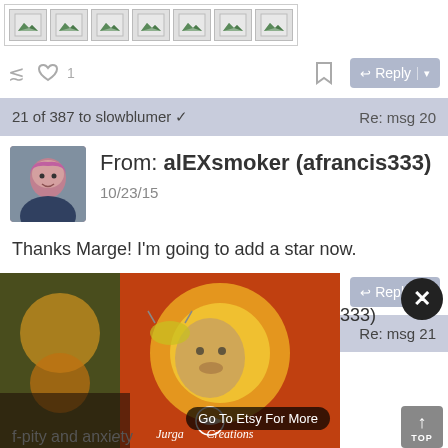[Figure (other): Row of image placeholders (broken image icons) in a bordered container]
1  Reply (action bar with share, heart, bookmark, reply button)
21 of 387 to slowblumer ✓   Re: msg 20
[Figure (photo): Avatar photo of a woman with pink/curly hair]
From: alEXsmoker (afrancis333)
10/23/15
Thanks Marge!  I'm going to add a star now.
Reply (action bar with share, heart, bookmark, reply button)
22 of 387   Re: msg 21
[Figure (photo): Advertisement image showing decorative artwork with sun/bee motif, Jurga Creations branding, and Go To Etsy For More button]
f-pity and anxiety